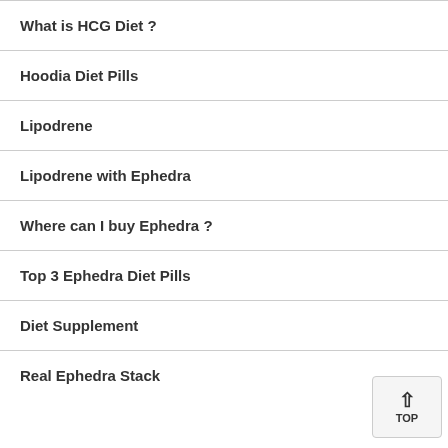What is HCG Diet ?
Hoodia Diet Pills
Lipodrene
Lipodrene with Ephedra
Where can I buy Ephedra ?
Top 3 Ephedra Diet Pills
Diet Supplement
Real Ephedra Stack